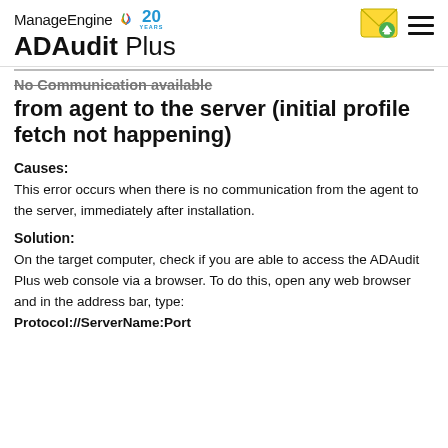ManageEngine 20 YEARS ADAudit Plus
No Communication available from agent to the server (initial profile fetch not happening)
Causes:
This error occurs when there is no communication from the agent to the server, immediately after installation.
Solution:
On the target computer, check if you are able to access the ADAudit Plus web console via a browser. To do this, open any web browser and in the address bar, type: Protocol://ServerName:Port